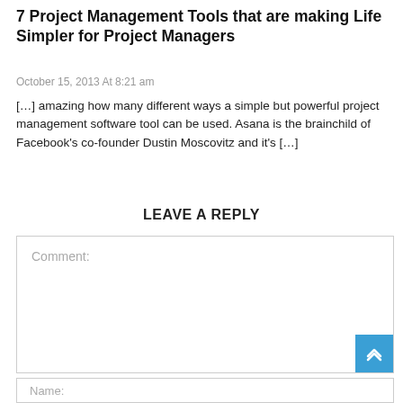7 Project Management Tools that are making Life Simpler for Project Managers
October 15, 2013 At 8:21 am
[…] amazing how many different ways a simple but powerful project management software tool can be used. Asana is the brainchild of Facebook's co-founder Dustin Moscovitz and it's […]
LEAVE A REPLY
Comment:
Name: